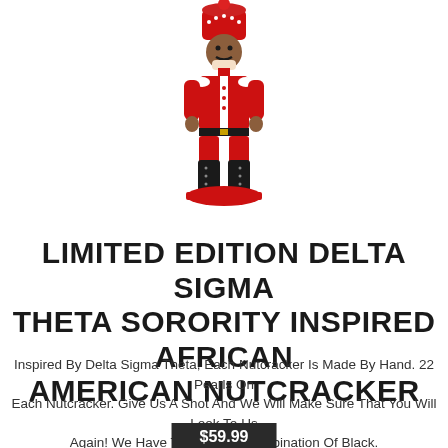[Figure (photo): A red and white African American nutcracker figurine wearing a red uniform and tall red hat, standing on a red circular base, with black boots.]
LIMITED EDITION DELTA SIGMA THETA SORORITY INSPIRED AFRICAN AMERICAN NUTCRACKER
Inspired By Delta Sigma Theta, Each Nutcracker Is Made By Hand. 22 Pearls On Each Nutcracker. Give Us A Shot And We Will Make Sure That You Will Look To Us Again! We Have The Perfect Combination Of Black.
$59.99